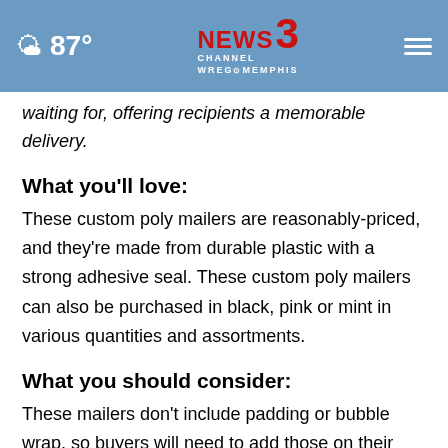87° NEWS 3 CHANNEL WREG MEMPHIS
waiting for, offering recipients a memorable delivery.
What you'll love:
These custom poly mailers are reasonably-priced, and they're made from durable plastic with a strong adhesive seal. These custom poly mailers can also be purchased in black, pink or mint in various quantities and assortments.
What you should consider:
These mailers don't include padding or bubble wrap, so buyers will need to add those on their own for more fragile items.